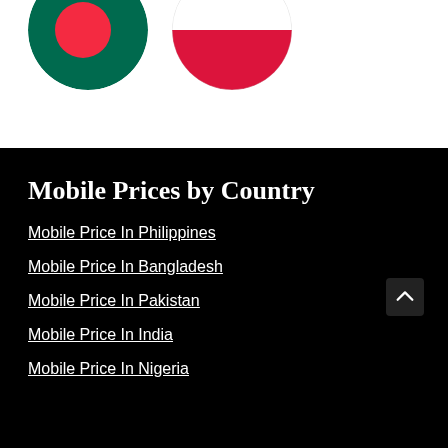[Figure (illustration): Two circular flag icons partially visible at top: Bangladesh flag (green with red circle) on left, Poland flag (red and white) on right]
Mobile Prices by Country
Mobile Price In Philippines
Mobile Price In Bangladesh
Mobile Price In Pakistan
Mobile Price In India
Mobile Price In Nigeria